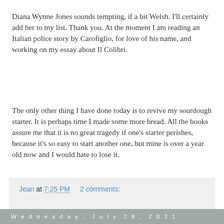Diana Wynne Jones sounds tempting, if a bit Welsh. I'll certainly add her to my list. Thank you. At the moment I am reading an Italian police story by Carofiglio, for love of his name, and working on my essay about Il Colibri.
The only other thing I have done today is to revive my sourdough starter. It is perhaps time I made some more bread. All the books assure me that it is no great tragedy if one's starter perishes, because it's so easy to start another one, but mine is over a year old now and I would hate to lose it.
Jean at 7:25 PM   2 comments:
Wednesday, July 28, 2021